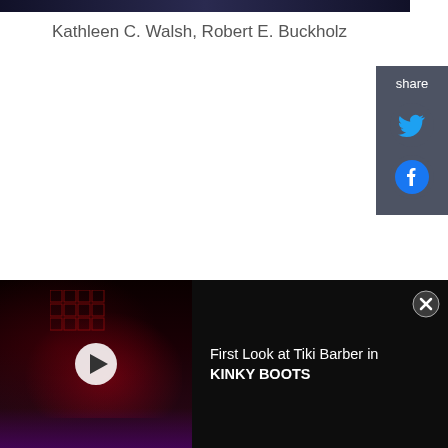[Figure (screenshot): Dark banner image at the top of the page, partially visible, appearing to be a theatrical or event photo with dark background]
Kathleen C. Walsh, Robert E. Buckholz
[Figure (infographic): Share panel on the right side with 'share' label, Twitter bird icon, and Facebook icon on dark grey background]
[Figure (screenshot): Bottom video bar with dark theatrical stage image on left showing red lighting effects and geometric set pieces, play button overlay, text 'First Look at Tiki Barber in KINKY BOOTS' on right, and close X button in top right corner]